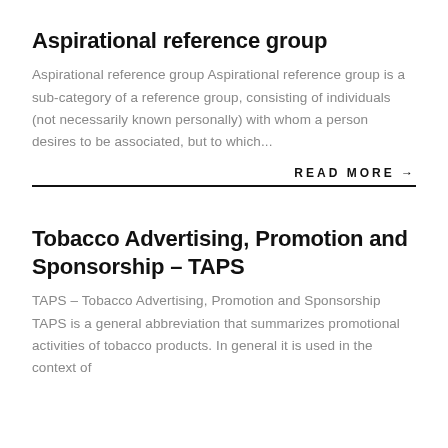Aspirational reference group
Aspirational reference group Aspirational reference group is a sub-category of a reference group, consisting of individuals (not necessarily known personally) with whom a person desires to be associated, but to which...
READ MORE →
Tobacco Advertising, Promotion and Sponsorship – TAPS
TAPS – Tobacco Advertising, Promotion and Sponsorship TAPS is a general abbreviation that summarizes promotional activities of tobacco products. In general it is used in the context of